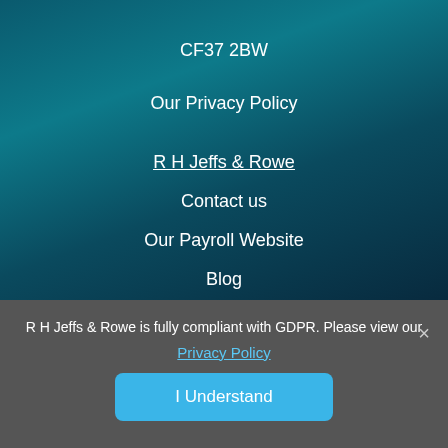CF37 2BW
Our Privacy Policy
R H Jeffs & Rowe
Contact us
Our Payroll Website
Blog
R H Jeffs & Rowe is fully compliant with GDPR. Please view our
Privacy Policy
I Understand